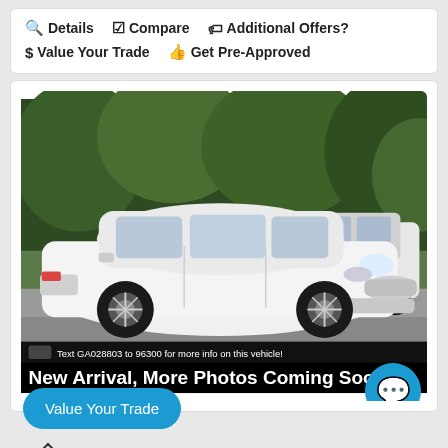Details   Compare   Additional Offers?   Value Your Trade   Get Pre-Approved
[Figure (photo): White Honda Accord sedan parked in a car lot with trees in the background. Banner overlay reads: Text GA028803 to 96300 for more info on this vehicle! New Arrival, More Photos Coming Soon]
Value Your Trade
RARE ENGINE